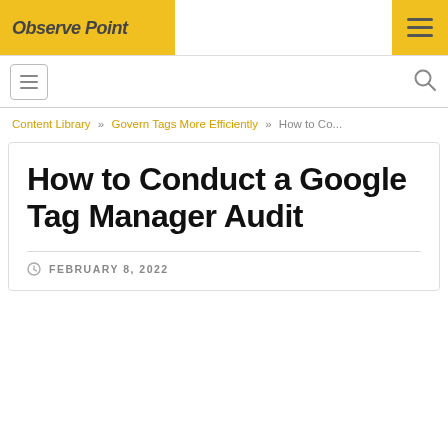ObservePoint
Content Library » Govern Tags More Efficiently » How to Co...
How to Conduct a Google Tag Manager Audit
FEBRUARY 8, 2022